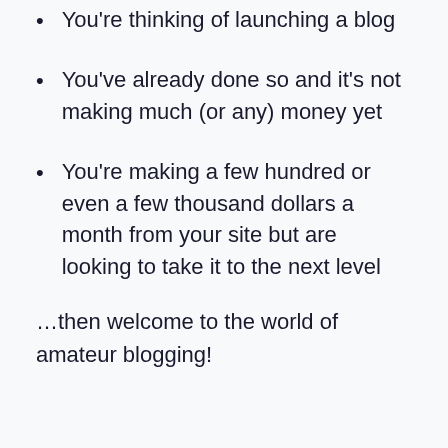You're thinking of launching a blog
You've already done so and it's not making much (or any) money yet
You're making a few hundred or even a few thousand dollars a month from your site but are looking to take it to the next level
…then welcome to the world of amateur blogging!